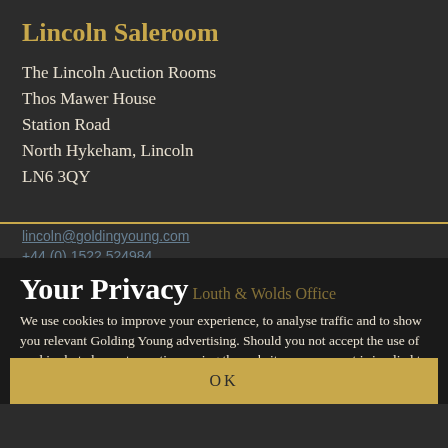Lincoln Saleroom
The Lincoln Auction Rooms
Thos Mawer House
Station Road
North Hykeham, Lincoln
LN6 3QY
lincoln@goldingyoung.com
+44 (0) 1522 524984
Your Privacy
Louth & Wolds Office
We use cookies to improve your experience, to analyse traffic and to show you relevant Golding Young advertising. Should you not accept the use of cookies but choose to continue using the website your consent is implied to the use of cookies that are used for data analytical purposes. More information.
+44 (0) 1780 751666
OK